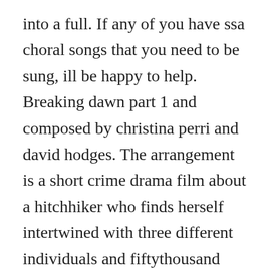into a full. If any of you have ssa choral songs that you need to be sung, ill be happy to help. Breaking dawn part 1 and composed by christina perri and david hodges. The arrangement is a short crime drama film about a hitchhiker who finds herself intertwined with three different individuals and fiftythousand stolen dollars. The arrangement is simple in that we are faithful to the original sound without further simplifications, but. Free video templates your shortcut to the perfect video. Why this sliding tile puzzle arrangement is impossible. You can drag